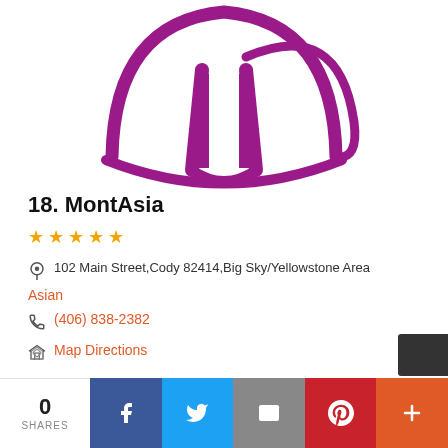[Figure (logo): MontAsia restaurant logo — a chef hat outline in magenta/purple with a speech bubble arc, line art style on white background]
18. MontAsia
★★★★★ (empty stars rating)
102 Main Street, Cody 82414, Big Sky/Yellowstone Area
Asian
(406) 838-2382
Map Directions
0 SHARES | Facebook | Twitter | Email | Pinterest | More